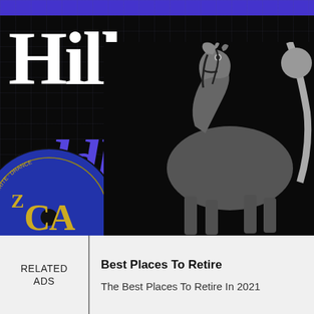[Figure (screenshot): Screenshot of a music/media webpage with dark background. Top purple bar. Large white bold text 'Hill' at upper left, below it italic purple text 'addles'. A circular blue vinyl record label (DCA) at lower left with text 'Vocal with Orchestral Accompaniment'. Right side shows a grayscale photo of a horse with a rider visible at the edge.]
RELATED ADS
Best Places To Retire
The Best Places To Retire In 2021